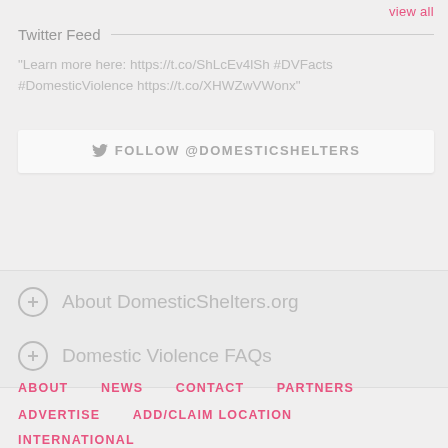view all
Twitter Feed
"Learn more here: https://t.co/ShLcEv4lSh #DVFacts #DomesticViolence https://t.co/XHWZwVWonx"
FOLLOW @DOMESTICSHELTERS
About DomesticShelters.org
Domestic Violence FAQs
ABOUT   NEWS   CONTACT   PARTNERS
ADVERTISE   ADD/CLAIM LOCATION
INTERNATIONAL